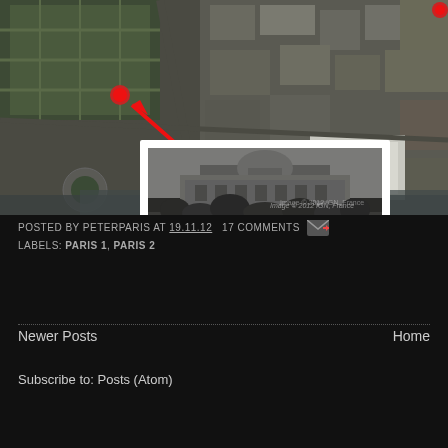[Figure (photo): Aerial satellite view of Paris (Google Maps satellite imagery) with a red dot marker and red arrow pointing to a location. An inset black-and-white historical engraving/photo of a Parisian building with a dome is overlaid in the lower-left portion of the image. A small red dot appears in the upper-right corner. Watermark reads 'Image © 2012 IGN, France'.]
POSTED BY PETERPARIS AT 19.11.12  17 COMMENTS
LABELS: PARIS 1, PARIS 2
Newer Posts
Home
Subscribe to: Posts (Atom)